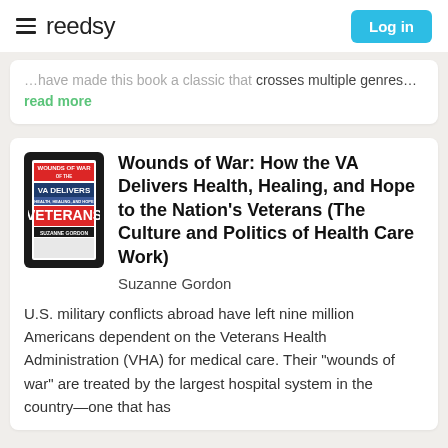reedsy  Log in
crosses multiple genres... read more
Wounds of War: How the VA Delivers Health, Healing, and Hope to the Nation's Veterans (The Culture and Politics of Health Care Work)
Suzanne Gordon
U.S. military conflicts abroad have left nine million Americans dependent on the Veterans Health Administration (VHA) for medical care. Their "wounds of war" are treated by the largest hospital system in the country—one that has